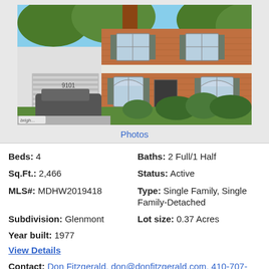[Figure (photo): Exterior photo of a two-story red brick colonial home with attached garage, landscaped shrubs, and a car in the driveway. Bright MLS watermark in bottom left.]
Photos
Beds: 4
Baths: 2 Full/1 Half
Sq.Ft.: 2,466
Status: Active
MLS#: MDHW2019418
Type: Single Family, Single Family-Detached
Subdivision: Glenmont
Lot size: 0.37 Acres
Year built: 1977
View Details
Contact: Don Fitzgerald, don@donfitzgerald.com, 410-707-